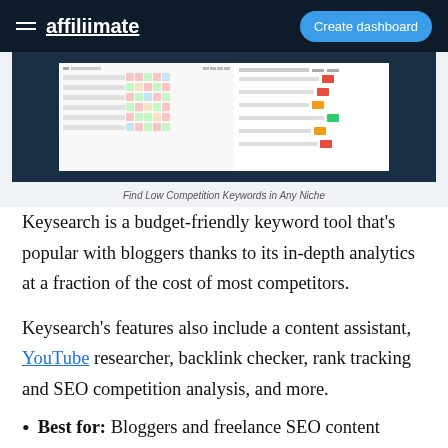affiliimate | Create dashboard
[Figure (screenshot): Screenshot of Keysearch keyword tool interface showing a keyword difficulty table with colored cells and a list of keywords with metrics. Caption reads: Find Low Competition Keywords in Any Niche]
Find Low Competition Keywords in Any Niche
Keysearch is a budget-friendly keyword tool that’s popular with bloggers thanks to its in-depth analytics at a fraction of the cost of most competitors.
Keysearch’s features also include a content assistant, YouTube researcher, backlink checker, rank tracking and SEO competition analysis, and more.
Best for: Bloggers and freelance SEO content